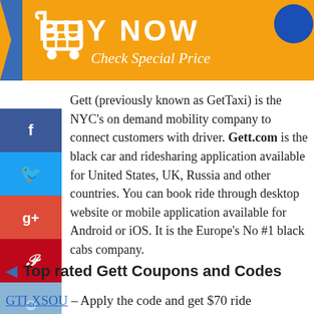[Figure (illustration): Orange 'BUY NOW - Check Special Price' banner with shopping cart icon and blue badge, blue ribbon on left side]
Gett (previously known as GetTaxi) is the NYC's on demand mobility company to connect customers with driver. Gett.com is the black car and ridesharing application available for United States, UK, Russia and other countries. You can book ride through desktop website or mobile application available for Android or iOS. It is the Europe's No #1 black cabs company.
Top rated Gett Coupons and Codes
GTLXSOU – Apply the code and get $70 ride